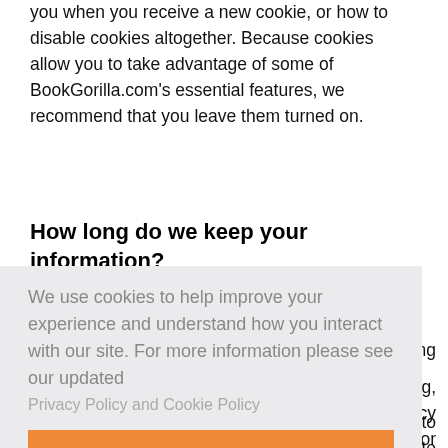you when you receive a new cookie, or how to disable cookies altogether. Because cookies allow you to take advantage of some of BookGorilla.com's essential features, we recommend that you leave them turned on.
How long do we keep your information?
We keep your information for as long as necessary to fulfill the purposes outlined in this privacy policy or
[Figure (other): Cookie consent popup overlay with text: 'We use cookies to help improve your experience and understand how you interact with our site. For more information please see our updated Privacy Policy and Cookie Policy' and a button 'Don't show this again']
or anonymize it, or if this is not possible (for example,